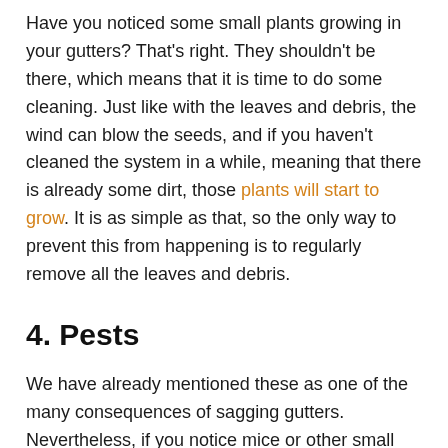Have you noticed some small plants growing in your gutters? That's right. They shouldn't be there, which means that it is time to do some cleaning. Just like with the leaves and debris, the wind can blow the seeds, and if you haven't cleaned the system in a while, meaning that there is already some dirt, those plants will start to grow. It is as simple as that, so the only way to prevent this from happening is to regularly remove all the leaves and debris.
4. Pests
We have already mentioned these as one of the many consequences of sagging gutters. Nevertheless, if you notice mice or other small creatures in your system, you have to act immediately. First of all, they can destroy your home overtime. Secondly, they can get into your basement or garage, and as